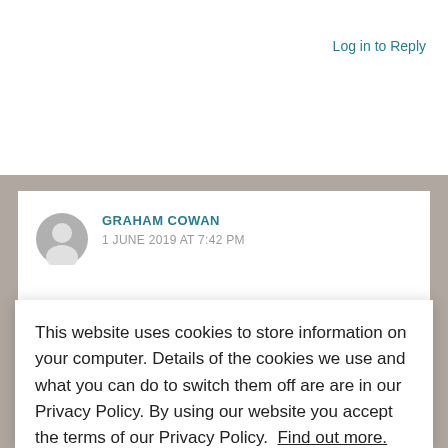Log in to Reply
GRAHAM COWAN
1 JUNE 2019 AT 7:42 PM
This website uses cookies to store information on your computer. Details of the cookies we use and what you can do to switch them off are are in our Privacy Policy. By using our website you accept the terms of our Privacy Policy.  Find out more.
Okay